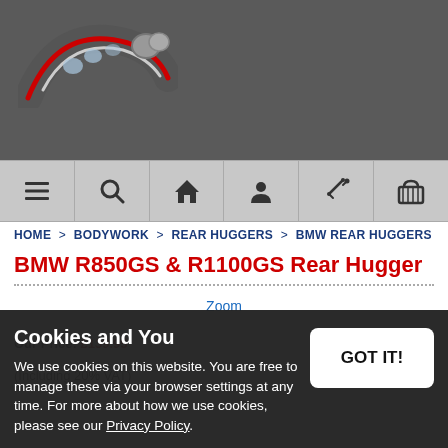[Figure (logo): Motorcycle website logo with red and grey tire/wheel arc graphic]
[Figure (infographic): Navigation bar with icons: hamburger menu, search, home, user, magic wand, shopping basket]
HOME > BODYWORK > REAR HUGGERS > BMW REAR HUGGERS
BMW R850GS & R1100GS Rear Hugger
Zoom
Our Price: £139.95
(Including 20% VAT)
Availability:
Cookies and You
We use cookies on this website. You are free to manage these via your browser settings at any time. For more about how we use cookies, please see our Privacy Policy.
GOT IT!